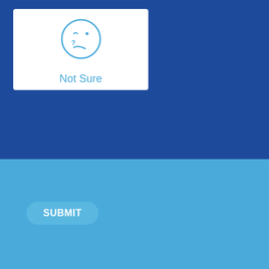[Figure (illustration): A white card containing a blue hand-drawn style confused/unsure face emoji with a question mark, and the text 'Not Sure' in blue below it]
SUBMIT